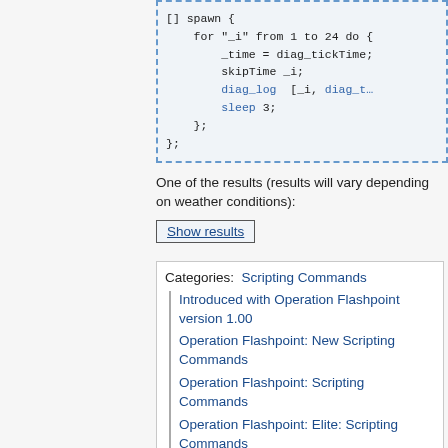[Figure (screenshot): Code block showing SQF scripting: [] spawn { for "_i" from 1 to 24 do { _time = diag_tickTime; skipTime _i; diag_log [_i, diag_t...; sleep 3; }; };]
One of the results (results will vary depending on weather conditions):
Show results
Categories:  Scripting Commands
Introduced with Operation Flashpoint version 1.00
Operation Flashpoint: New Scripting Commands
Operation Flashpoint: Scripting Commands
Operation Flashpoint: Elite: Scripting Commands
ArmA: Armed Assault: Scripting...